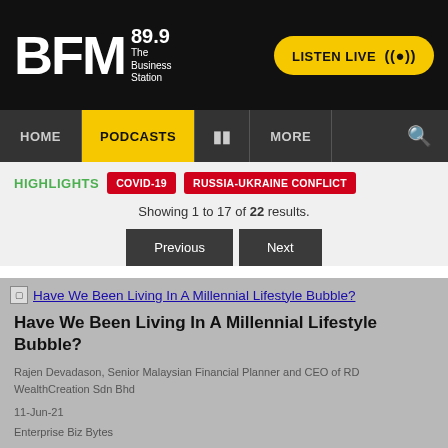BFM 89.9 The Business Station — LISTEN LIVE
HOME | PODCASTS | MORE
HIGHLIGHTS  COVID-19  RUSSIA-UKRAINE CONFLICT
Showing 1 to 17 of 22 results.
Previous  Next
[Figure (screenshot): Broken image placeholder for article thumbnail]
Have We Been Living In A Millennial Lifestyle Bubble?
Rajen Devadason, Senior Malaysian Financial Planner and CEO of RD WealthCreation Sdn Bhd
11-Jun-21
Enterprise Biz Bytes
(12:06 PM)